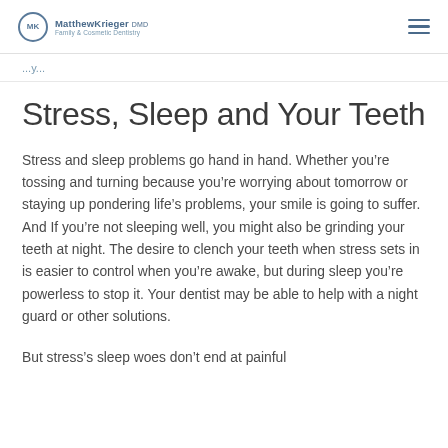MK Matthew Krieger DMD | Family & Cosmetic Dentistry
...y...
Stress, Sleep and Your Teeth
Stress and sleep problems go hand in hand. Whether you’re tossing and turning because you’re worrying about tomorrow or staying up pondering life’s problems, your smile is going to suffer. And If you’re not sleeping well, you might also be grinding your teeth at night. The desire to clench your teeth when stress sets in is easier to control when you’re awake, but during sleep you’re powerless to stop it. Your dentist may be able to help with a night guard or other solutions.
But stress’s sleep woes don’t end at painful